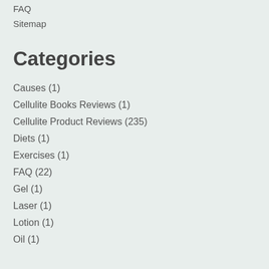FAQ
Sitemap
Categories
Causes (1)
Cellulite Books Reviews (1)
Cellulite Product Reviews (235)
Diets (1)
Exercises (1)
FAQ (22)
Gel (1)
Laser (1)
Lotion (1)
Oil (1)